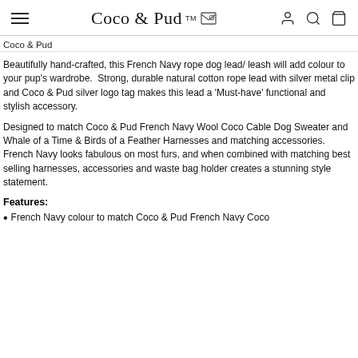Coco & Pud
Coco & Pud
Beautifully hand-crafted, this French Navy rope dog lead/ leash will add colour to your pup's wardrobe.  Strong, durable natural cotton rope lead with silver metal clip and Coco & Pud silver logo tag makes this lead a 'Must-have' functional and stylish accessory.
Designed to match Coco & Pud French Navy Wool Coco Cable Dog Sweater and  Whale of a Time & Birds of a Feather Harnesses and matching accessories. French Navy looks fabulous on most furs, and when combined with matching best selling harnesses, accessories and waste bag holder creates a stunning style statement.
Features:
French Navy colour to match Coco & Pud French Navy Coco